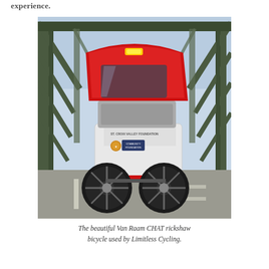experience.
[Figure (photo): A Van Raam CHAT rickshaw bicycle parked on a bridge road. The bicycle has a red canopy top and seat cover, a white cargo/passenger compartment with St. Croix Valley Foundation logos and stickers, large black spoked wheels, and a red bumper bar. In the background is a green metal truss bridge structure under a clear blue sky.]
The beautiful Van Raam CHAT rickshaw bicycle used by Limitless Cycling.